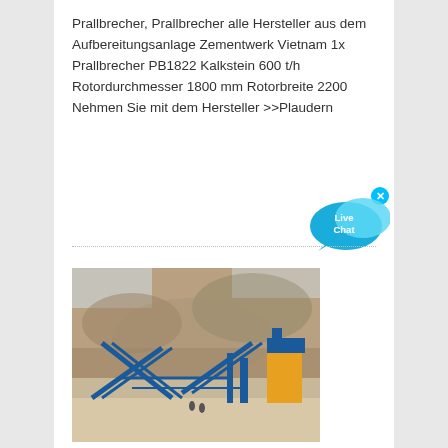Prallbrecher, Prallbrecher alle Hersteller aus dem Aufbereitungsanlage Zementwerk Vietnam 1x Prallbrecher PB1822 Kalkstein 600 t/h Rotordurchmesser 1800 mm Rotorbreite 2200 Nehmen Sie mit dem Hersteller >>Plaudern
[Figure (photo): Industrial crushing/processing plant with blue conveyor belts and machinery set against a rocky quarry face background]